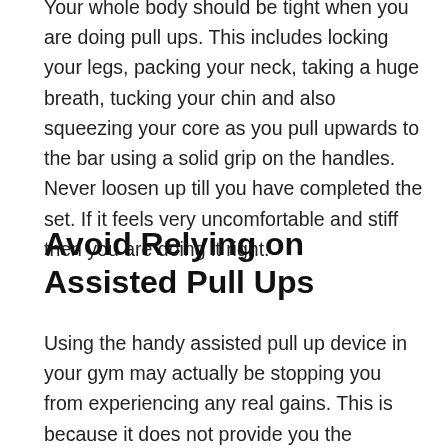Your whole body should be tight when you are doing pull ups. This includes locking your legs, packing your neck, taking a huge breath, tucking your chin and also squeezing your core as you pull upwards to the bar using a solid grip on the handles. Never loosen up till you have completed the set. If it feels very uncomfortable and stiff then you are doing it right.
Avoid Relying on Assisted Pull Ups
Using the handy assisted pull up device in your gym may actually be stopping you from experiencing any real gains. This is because it does not provide you the complete workout of a normal pull up and it also promotes the wrong form.